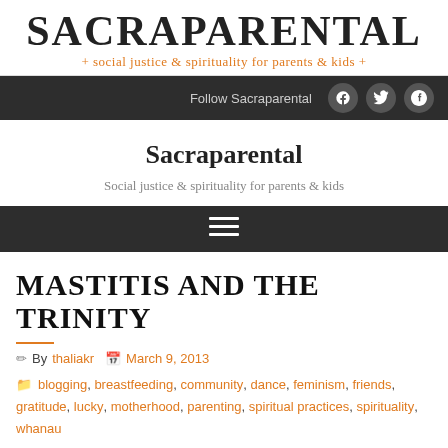SACRAPARENTAL + social justice & spirituality for parents & kids +
Follow Sacraparental
Sacraparental
Social justice & spirituality for parents & kids
MASTITIS AND THE TRINITY
By thaliakr  March 9, 2013
blogging, breastfeeding, community, dance, feminism, friends, gratitude, lucky, motherhood, parenting, spiritual practices, spirituality, whanau